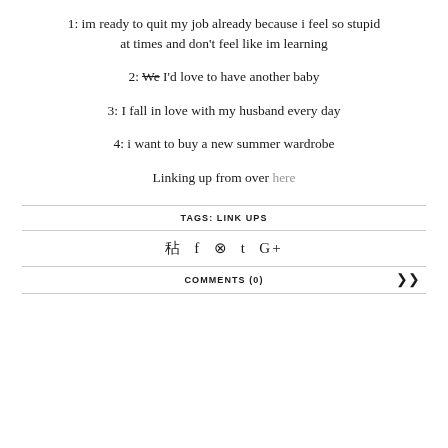1: im ready to quit my job already because i feel so stupid at times and don't feel like im learning
2: We I'd love to have another baby
3: I fall in love with my husband every day
4: i want to buy a new summer wardrobe
Linking up from over here
TAGS: LINK UPS
♥ f ⊕ t G+
COMMENTS (0)